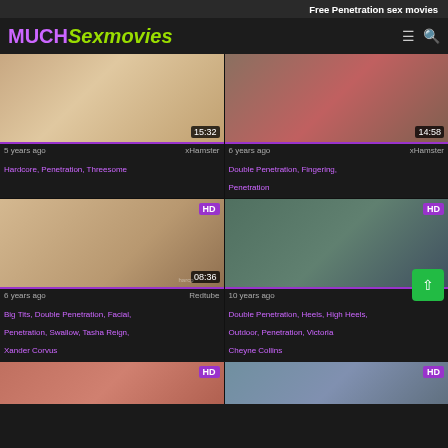Free Penetration sex movies
MUCH Sexmovies
[Figure (screenshot): Video thumbnail 1 - 15:32 duration, 5 years ago, xHamster, tags: Hardcore, Penetration, Threesome]
[Figure (screenshot): Video thumbnail 2 - 14:58 duration, 6 years ago, xHamster, tags: Double Penetration, Fingering, Penetration]
[Figure (screenshot): Video thumbnail 3 HD - 08:36 duration, 6 years ago, Redtube, tags: Big Tits, Double Penetration, Facial, Penetration, Swallow, Tasha Reign, Xander Corvus]
[Figure (screenshot): Video thumbnail 4 HD - 25:54 duration, 10 years ago, Redtube, tags: Double Penetration, Heels, High Heels, Outdoor, Penetration, Victoria, Cheyne Collins]
[Figure (screenshot): Video thumbnail 5 HD - partially visible at bottom left]
[Figure (screenshot): Video thumbnail 6 HD - partially visible at bottom right]